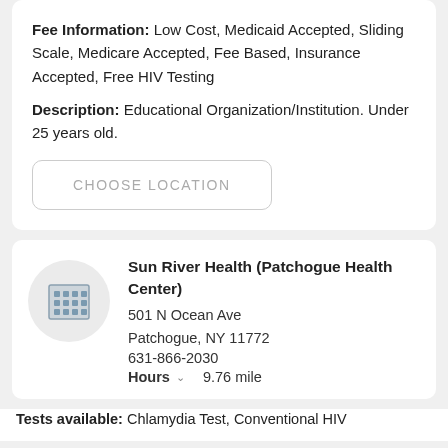Fee Information: Low Cost, Medicaid Accepted, Sliding Scale, Medicare Accepted, Fee Based, Insurance Accepted, Free HIV Testing
Description: Educational Organization/Institution. Under 25 years old.
CHOOSE LOCATION
Sun River Health (Patchogue Health Center)
501 N Ocean Ave
Patchogue, NY 11772
631-866-2030
Hours  9.76 mile
Tests available: Chlamydia Test, Conventional HIV